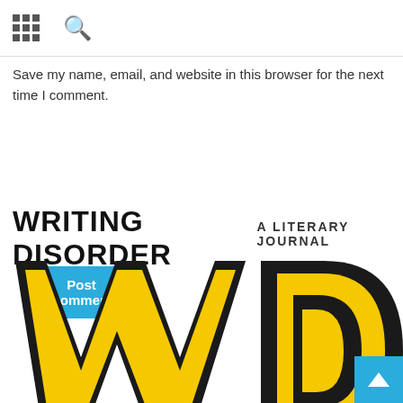Grid menu, Search
Save my name, email, and website in this browser for the next time I comment.
Post Comment
WRITING DISORDER  A LITERARY JOURNAL
[Figure (logo): Large yellow and black WD logo letters for Writing Disorder literary journal, shown cropped at bottom of page]